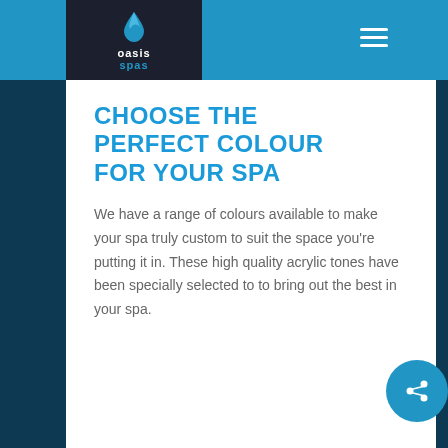[Figure (logo): Oasis Spas logo with blue water drop icon, white text 'oasis' and blue text 'spas' on dark background]
CHOOSE THE PERFECT COLOUR FOR YOUR SPA
We have a range of colours available to make your spa truly custom to suit the space you're putting it in. These high quality acrylic tones have been specially selected to to bring out the best in your spa.